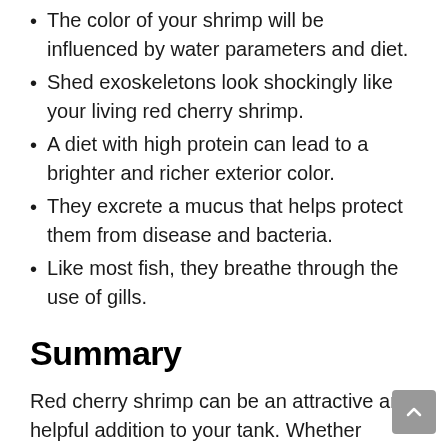The color of your shrimp will be influenced by water parameters and diet.
Shed exoskeletons look shockingly like your living red cherry shrimp.
A diet with high protein can lead to a brighter and richer exterior color.
They excrete a mucus that helps protect them from disease and bacteria.
Like most fish, they breathe through the use of gills.
Summary
Red cherry shrimp can be an attractive and helpful addition to your tank. Whether you're interested in an aquarium that contains only shrimp, or you're looking to add a few to your community tank—these